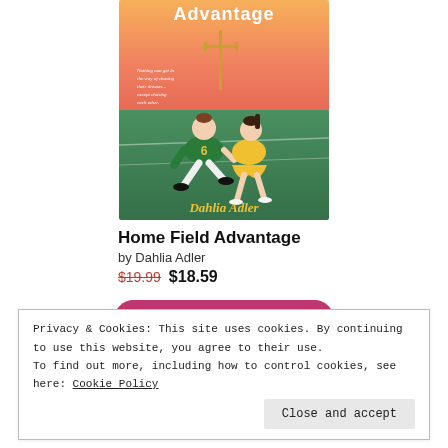[Figure (illustration): Book cover for 'Home Field Advantage' by Dahlia Adler. Shows two illustrated figures (a football player wearing #6 in green/yellow uniform and a cheerleader in yellow) sitting on a football field with a goalpost in the background against a pink/orange sky. The author name 'Dahlia Adler' appears in gold italic script at the bottom.]
Home Field Advantage
by Dahlia Adler
$19.99 $18.59
BUY ON BOOKSHOP.ORG
Privacy & Cookies: This site uses cookies. By continuing to use this website, you agree to their use.
To find out more, including how to control cookies, see here: Cookie Policy
Close and accept